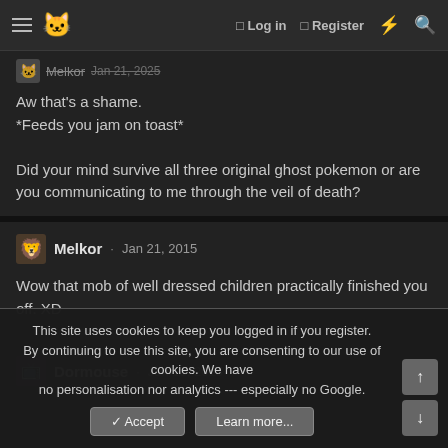Navigation bar with hamburger menu, cat logo, Log in, Register, lightning icon, search icon
Aw that's a shame.
*Feeds you jam on toast*

Did your mind survive all three original ghost pokemon or are you communicating to me through the veil of death?
Melkor · Jan 21, 2015
Wow that mob of well dressed children practically finished you off. XD
Dormouse · Jan 18, 2015
This site uses cookies to keep you logged in if you register. By continuing to use this site, you are consenting to our use of cookies. We have no personalisation nor analytics --- especially no Google.